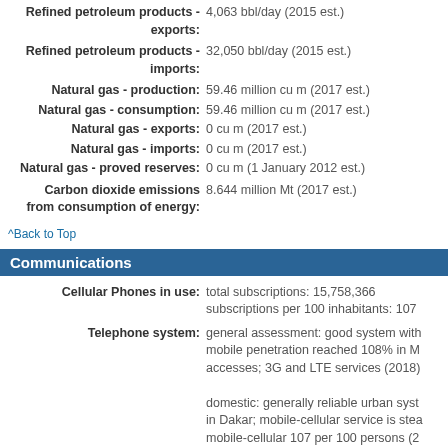Refined petroleum products - exports: 4,063 bbl/day (2015 est.)
Refined petroleum products - imports: 32,050 bbl/day (2015 est.)
Natural gas - production: 59.46 million cu m (2017 est.)
Natural gas - consumption: 59.46 million cu m (2017 est.)
Natural gas - exports: 0 cu m (2017 est.)
Natural gas - imports: 0 cu m (2017 est.)
Natural gas - proved reserves: 0 cu m (1 January 2012 est.)
Carbon dioxide emissions from consumption of energy: 8.644 million Mt (2017 est.)
^Back to Top
Communications
Cellular Phones in use: total subscriptions: 15,758,366 subscriptions per 100 inhabitants: 107
Telephone system: general assessment: good system with mobile penetration reached 108% in M accesses; 3G and LTE services (2018) domestic: generally reliable urban syst in Dakar; mobile-cellular service is stea mobile-cellular 107 per 100 persons (2 international: country code - 221; the A fiber-optic connectivity to Europe and A station - 1 Intelsat (Atlantic Ocean)
Broadcast media: state-run Radiodiffusion Television Se